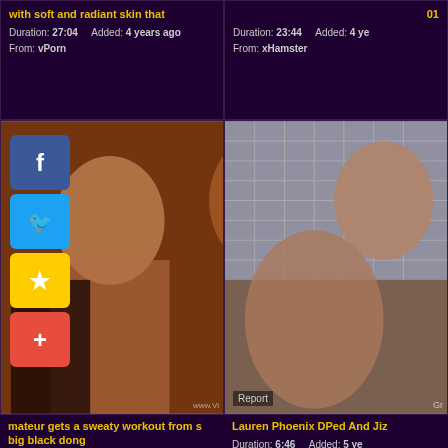with soft and radiant skin that
Duration: 27:04   Added: 4 years ago
From: vPorn
01
Duration: 23:44   Added: 4 years ago
From: xHamster
[Figure (photo): Video thumbnail showing woman in dim room with lamp]
[Figure (photo): Video thumbnail showing close-up of persons being intimate]
mateur gets a sweaty workout from s big black dong
Duration: 4:58   Added: 4 years ago
From: vo Tube
Lauren Phoenix DPed And Jiz
Duration: 6:46   Added: 5 years ago
From: Dr Tuber
[Figure (photo): Video thumbnail kitchen scene]
[Figure (photo): Video thumbnail close-up intimate scene]